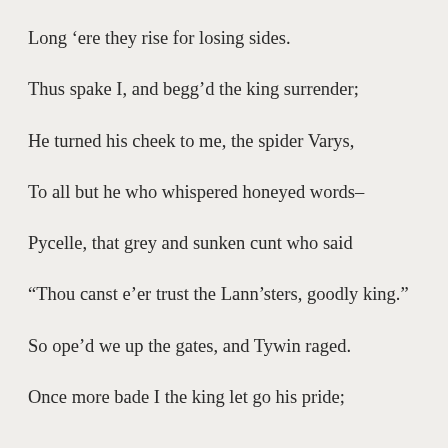Long ‘ere they rise for losing sides.
Thus spake I, and begg’d the king surrender;
He turned his cheek to me, the spider Varys,
To all but he who whispered honeyed words–
Pycelle, that grey and sunken cunt who said
“Thou canst e’er trust the Lann’sters, goodly king.”
So ope’d we up the gates, and Tywin raged.
Once more bade I the king let go his pride;